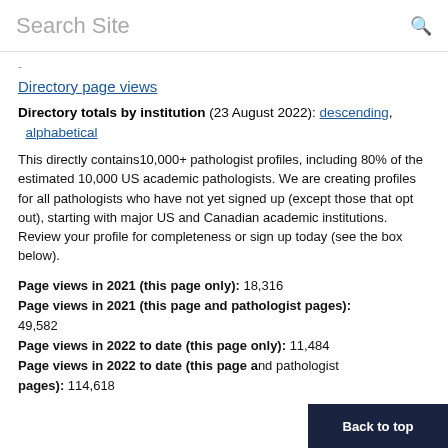Search Site
-
Directory page views
Directory totals by institution (23 August 2022): descending, alphabetical
This directly contains10,000+ pathologist profiles, including 80% of the estimated 10,000 US academic pathologists. We are creating profiles for all pathologists who have not yet signed up (except those that opt out), starting with major US and Canadian academic institutions. Review your profile for completeness or sign up today (see the box below).
Page views in 2021 (this page only): 18,316
Page views in 2021 (this page and pathologist pages): 49,582
Page views in 2022 to date (this page only): 11,484
Page views in 2022 to date (this page and pathologist pages): 114,618